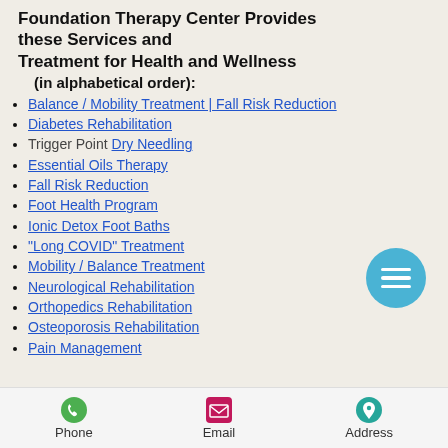Foundation Therapy Center Provides these Services and Treatment for Health and Wellness (in alphabetical order):
Balance / Mobility Treatment | Fall Risk Reduction
Diabetes Rehabilitation
Trigger Point Dry Needling
Essential Oils Therapy
Fall Risk Reduction
Foot Health Program
Ionic Detox Foot Baths
"Long COVID" Treatment
Mobility / Balance Treatment
Neurological Rehabilitation
Orthopedics Rehabilitation
Osteoporosis Rehabilitation
Pain Management
Phone   Email   Address